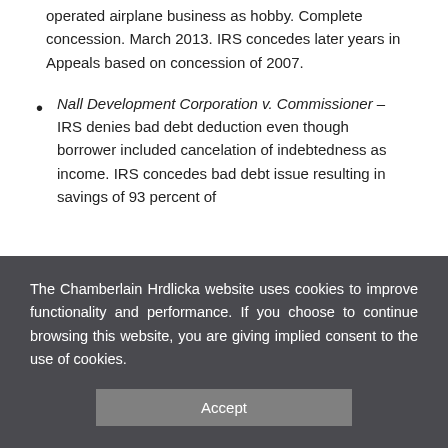operated airplane business as hobby. Complete concession. March 2013. IRS concedes later years in Appeals based on concession of 2007.
Nall Development Corporation v. Commissioner – IRS denies bad debt deduction even though borrower included cancelation of indebtedness as income. IRS concedes bad debt issue resulting in savings of 93 percent of
The Chamberlain Hrdlicka website uses cookies to improve functionality and performance. If you choose to continue browsing this website, you are giving implied consent to the use of cookies.